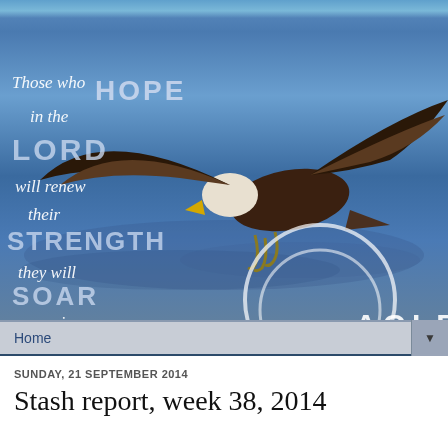[Figure (photo): A bald eagle soaring over water with wings spread wide, overlaid with an inspirational Bible verse from Isaiah 40:31 in white italic and bold text, and an Eagles logo graphic. Blue water background. Copyright 1996 Paul Lee heartlight.com.]
Home
SUNDAY, 21 SEPTEMBER 2014
Stash report, week 38, 2014